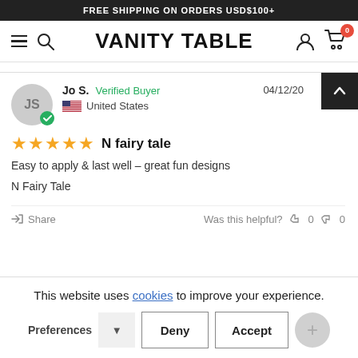FREE SHIPPING ON ORDERS USD$100+
VANITY TABLE
Jo S.  Verified Buyer  04/12/20  United States
★★★★★  N fairy tale
Easy to apply & last well – great fun designs
N Fairy Tale
Share  Was this helpful?  👍 0  👎 0
This website uses cookies to improve your experience.
Preferences  Deny  Accept